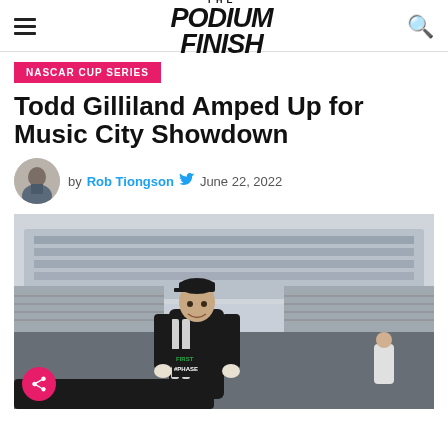THE PODIUM FINISH
NASCAR CUP SERIES
Todd Gilliland Amped Up for Music City Showdown
by Rob Tiongson  June 22, 2022
[Figure (photo): Todd Gilliland in black racing suit with First Phase sponsorship, standing at a NASCAR track with grandstands and a large building in the background]